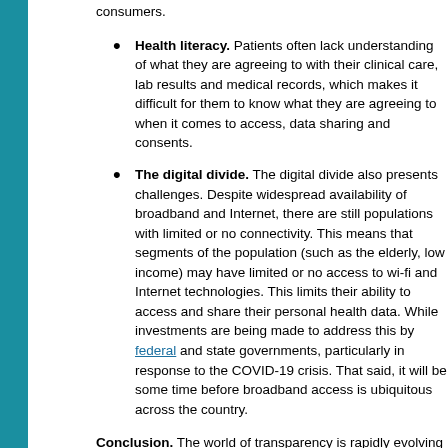consumers.
Health literacy. Patients often lack understanding of what they are agreeing to with their clinical care, lab results and medical records, which makes it difficult for them to know what they are agreeing to when it comes to access, data sharing and consents.
The digital divide. The digital divide also presents challenges. Despite widespread availability of broadband and Internet, there are still populations with limited or no connectivity. This means that segments of the population (such as the elderly, low income) may have limited or no access to wi-fi and Internet technologies. This limits their ability to access and share their personal health data. While investments are being made to address this by federal and state governments, particularly in response to the COVID-19 crisis. That said, it will be some time before broadband access is ubiquitous across the country.
Conclusion. The world of transparency is rapidly evolving and all parties must come together to address gaps in mechanisms for information access and data sharing, as well as create easy-to-use and understand mechanisms for consumers.